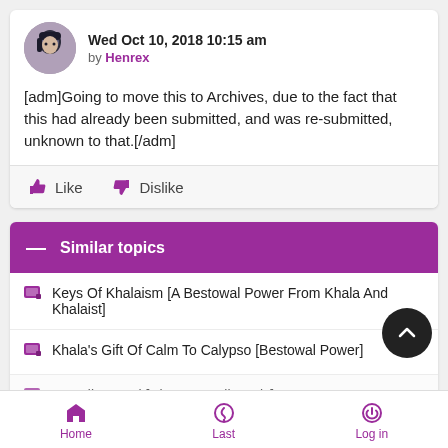Wed Oct 10, 2018 10:15 am
by Henrex
[adm]Going to move this to Archives, due to the fact that this had already been submitted, and was re-submitted, unknown to that.[/adm]
Similar topics
Keys Of Khalaism [A Bestowal Power From Khala And Khalaist]
Khala's Gift Of Calm To Calypso [Bestowal Power]
Guardian Seal [Cirno's Family Only]
Home   Last   Log in